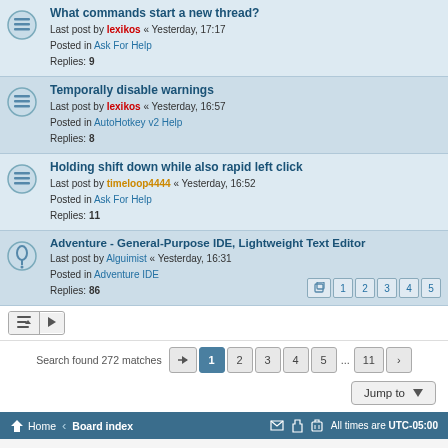What commands start a new thread? — Last post by lexikos « Yesterday, 17:17 — Posted in Ask For Help — Replies: 9
Temporally disable warnings — Last post by lexikos « Yesterday, 16:57 — Posted in AutoHotkey v2 Help — Replies: 8
Holding shift down while also rapid left click — Last post by timeloop4444 « Yesterday, 16:52 — Posted in Ask For Help — Replies: 11
Adventure - General-Purpose IDE, Lightweight Text Editor — Last post by Alguimist « Yesterday, 16:31 — Posted in Adventure IDE — Replies: 86 — Pages: 1 2 3 4 5
Search found 272 matches — Pages: 1 2 3 4 5 ... 11
Jump to
Home · Board index — All times are UTC-05:00
Powered by phpBB® Forum Software © phpBB Limited — Privacy | Terms